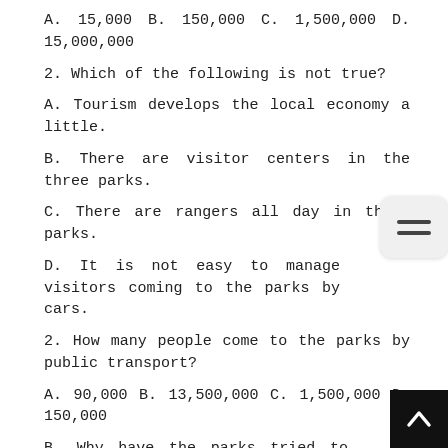A. 15,000 B. 150,000 C. 1,500,000 D. 15,000,000
2. Which of the following is not true?
A. Tourism develops the local economy a little.
B. There are visitor centers in the three parks.
C. There are rangers all day in three parks.
D. It is not easy to manage visitors coming to the parks by cars.
2. How many people come to the parks by public transport?
A. 90,000 B. 13,500,000 C. 1,500,000 D. 150,000
B. Why have the parks tried to develop public transport?